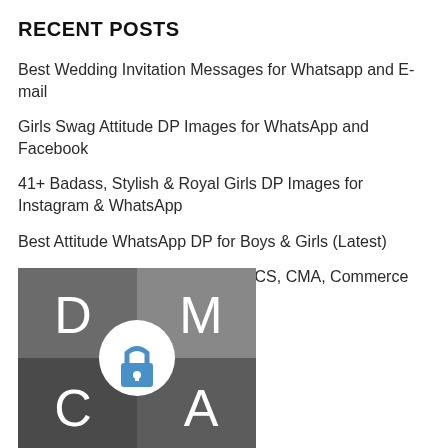RECENT POSTS
Best Wedding Invitation Messages for Whatsapp and E-mail
Girls Swag Attitude DP Images for WhatsApp and Facebook
41+ Badass, Stylish & Royal Girls DP Images for Instagram & WhatsApp
Best Attitude WhatsApp DP for Boys & Girls (Latest)
Best Motivational Quotes for CA, CS, CMA, Commerce Students
[Figure (illustration): A 2x2 grid of dark gray squares with letters D, M, C, A in the four quadrants and a circular white badge with a blue padlock icon in the center]